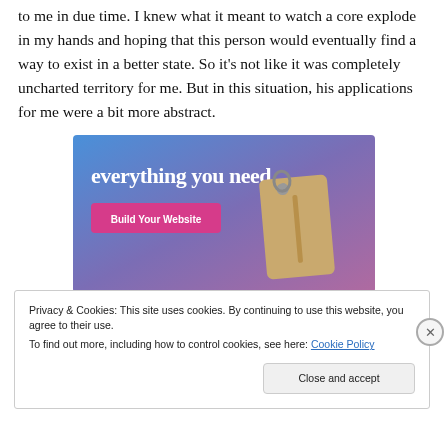to me in due time. I knew what it meant to watch a core explode in my hands and hoping that this person would eventually find a way to exist in a better state. So it's not like it was completely uncharted territory for me. But in this situation, his applications for me were a bit more abstract.
[Figure (screenshot): Advertisement banner with blue-to-purple gradient background, text 'everything you need.' in white, a pink 'Build Your Website' button on the left, and a tan luggage tag graphic on the right.]
Privacy & Cookies: This site uses cookies. By continuing to use this website, you agree to their use.
To find out more, including how to control cookies, see here: Cookie Policy
Close and accept